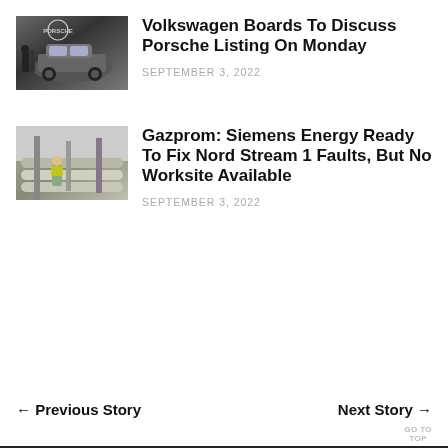[Figure (photo): Porsche car at an auto show with Porsche logo visible in background, people standing near the vehicle]
Volkswagen Boards To Discuss Porsche Listing On Monday
SEPTEMBER 3, 2022
[Figure (photo): Industrial pipelines at a gas facility with a worker in high-visibility jacket visible]
Gazprom: Siemens Energy Ready To Fix Nord Stream 1 Faults, But No Worksite Available
SEPTEMBER 3, 2022
← Previous Story
Next Story →